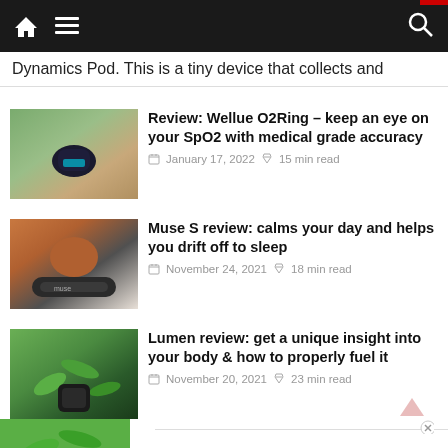Navigation bar with home icon, menu icon, and search icon
Dynamics Pod. This is a tiny device that collects and
[Figure (photo): Photo of Wellue O2Ring device on a surface, small black oval wearable]
Review: Wellue O2Ring – keep an eye on your SpO2 with medical grade accuracy
January 17, 2022  15 min read
[Figure (photo): Photo of Muse S headband device on a brown pot]
Muse S review: calms your day and helps you drift off to sleep
November 24, 2021  18 min read
[Figure (photo): Photo of Lumen device among green plants]
Lumen review: get a unique insight into your body & how to properly fuel it
November 20, 2021  23 min read